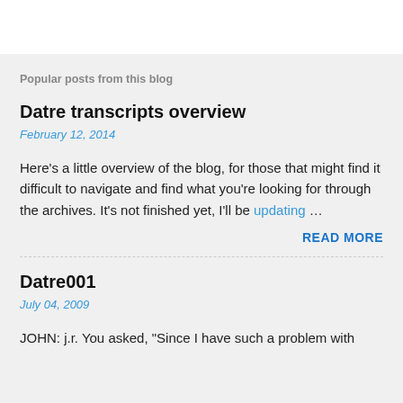Popular posts from this blog
Datre transcripts overview
February 12, 2014
Here's a little overview of the blog, for those that might find it difficult to navigate and find what you're looking for through the archives. It's not finished yet, I'll be updating …
READ MORE
Datre001
July 04, 2009
JOHN: j.r. You asked, "Since I have such a problem with